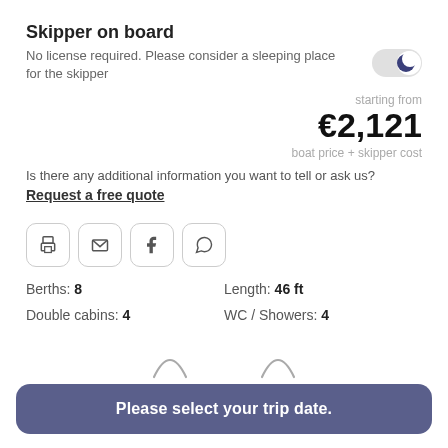Skipper on board
No license required. Please consider a sleeping place for the skipper
starting from €2,121 boat price + skipper cost
Is there any additional information you want to tell or ask us?
Request a free quote
[Figure (other): Share icons: print, email, Facebook, WhatsApp]
Berths: 8
Length: 46 ft
Double cabins: 4
WC / Showers: 4
[Figure (illustration): Two sail/arch icons]
Please select your trip date.